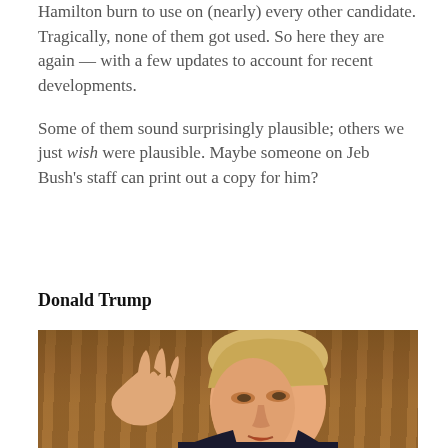Hamilton burn to use on (nearly) every other candidate. Tragically, none of them got used. So here they are again — with a few updates to account for recent developments.
Some of them sound surprisingly plausible; others we just wish were plausible. Maybe someone on Jeb Bush's staff can print out a copy for him?
Donald Trump
[Figure (photo): Close-up photo of Donald Trump gesturing with his right hand raised, fingers spread, against a dark curtained background. He is wearing a dark suit and appears to be speaking.]